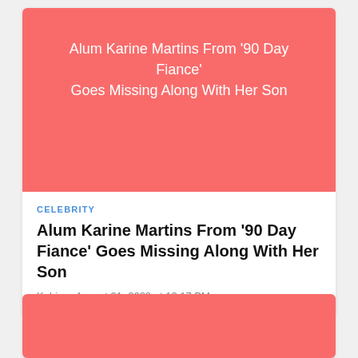[Figure (illustration): Salmon/coral colored banner image with white text: Alum Karine Martins From '90 Day Fiance' Goes Missing Along With Her Son]
CELEBRITY
Alum Karine Martins From '90 Day Fiance' Goes Missing Along With Her Son
Kabir - August 31, 2022 at 12:17 PM
[Figure (illustration): Partial salmon/coral colored banner image, second article card, cropped at bottom of page]